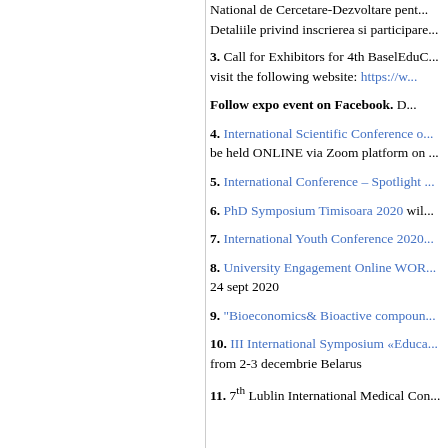National de Cercetare-Dezvoltare pent... Detaliile privind inscrierea si participare...
3. Call for Exhibitors for 4th BaselEduC... visit the following website: https://w...
Follow expo event on Facebook. D...
4. International Scientific Conference o... be held ONLINE via Zoom platform on ...
5. International Conference – Spotlight ...
6. PhD Symposium Timisoara 2020 wil...
7. International Youth Conference 2020...
8. University Engagement Online WOR... 24 sept 2020
9. "Bioeconomics& Bioactive compoun...
10. III International Symposium «Educa... from 2-3 decembrie Belarus
11. 7th Lublin International Medical Con...